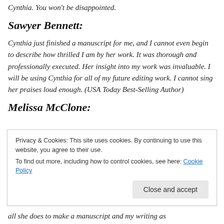Cynthia. You won't be disappointed.
Sawyer Bennett:
Cynthia just finished a manuscript for me, and I cannot even begin to describe how thrilled I am by her work. It was thorough and professionally executed. Her insight into my work was invaluable. I will be using Cynthia for all of my future editing work. I cannot sing her praises loud enough. (USA Today Best-Selling Author)
Melissa McClone:
all she does to make a manuscript and my writing as
Privacy & Cookies: This site uses cookies. By continuing to use this website, you agree to their use.
To find out more, including how to control cookies, see here: Cookie Policy